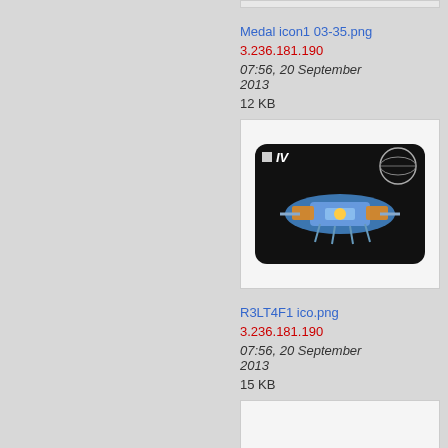Medal icon1 03-35.png
3.236.181.190
07:56, 20 September 2013
12 KB
[Figure (screenshot): A game icon showing a spacecraft/space station with 'IV' label on a black background, with an orbital sphere, colored in blue, orange, and yellow tones]
R3LT4F1 ico.png
3.236.181.190
07:56, 20 September 2013
15 KB
[Figure (screenshot): Partially visible white image box at the bottom of the page]